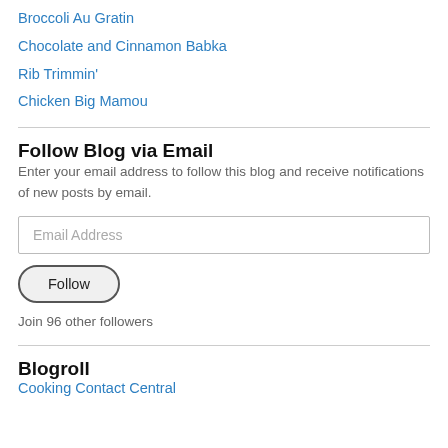Broccoli Au Gratin
Chocolate and Cinnamon Babka
Rib Trimmin'
Chicken Big Mamou
Follow Blog via Email
Enter your email address to follow this blog and receive notifications of new posts by email.
Email Address
Follow
Join 96 other followers
Blogroll
Cooking Contact Central